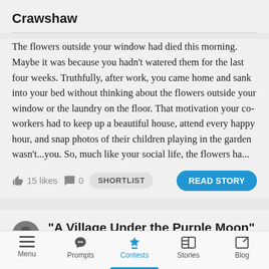Crawshaw
The flowers outside your window had died this morning. Maybe it was because you hadn't watered them for the last four weeks. Truthfully, after work, you came home and sank into your bed without thinking about the flowers outside your window or the laundry on the floor. That motivation your co-workers had to keep up a beautiful house, attend every happy hour, and snap photos of their children playing in the garden wasn't...you. So, much like your social life, the flowers ha...
15 likes   0   SHORTLIST   READ STORY
“A Village Under the Purple Moon” by
Menu   Prompts   Contests   Stories   Blog